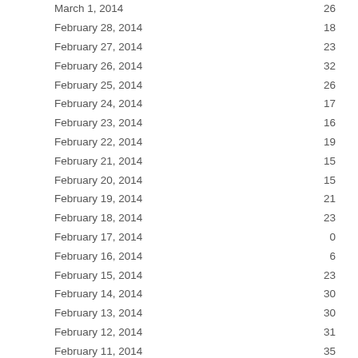| Date | Value |
| --- | --- |
| March 1, 2014 | 26 |
| February 28, 2014 | 18 |
| February 27, 2014 | 23 |
| February 26, 2014 | 32 |
| February 25, 2014 | 26 |
| February 24, 2014 | 17 |
| February 23, 2014 | 16 |
| February 22, 2014 | 19 |
| February 21, 2014 | 15 |
| February 20, 2014 | 15 |
| February 19, 2014 | 21 |
| February 18, 2014 | 23 |
| February 17, 2014 | 0 |
| February 16, 2014 | 6 |
| February 15, 2014 | 23 |
| February 14, 2014 | 30 |
| February 13, 2014 | 30 |
| February 12, 2014 | 31 |
| February 11, 2014 | 35 |
| February 10, 2014 | 22 |
| February 9, 2014 | 37 |
| February 8, 2014 | 35 |
| February 7, 2014 | 28 |
| February 6, 2014 | 45 |